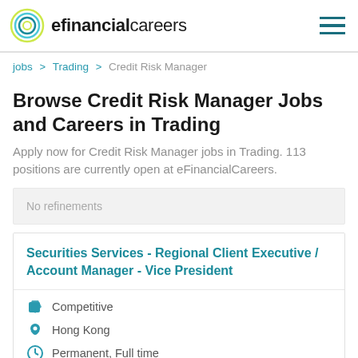efinancialcareers
jobs > Trading > Credit Risk Manager
Browse Credit Risk Manager Jobs and Careers in Trading
Apply now for Credit Risk Manager jobs in Trading. 113 positions are currently open at eFinancialCareers.
No refinements
Securities Services - Regional Client Executive / Account Manager - Vice President
Competitive
Hong Kong
Permanent, Full time